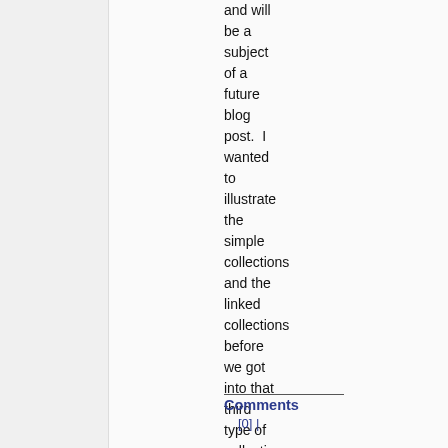and will be a subject of a future blog post. I wanted to illustrate the simple collections and the linked collections before we got into that third type of collection from above – the Dynamic Collection. Stay tuned!
Comments [0] |